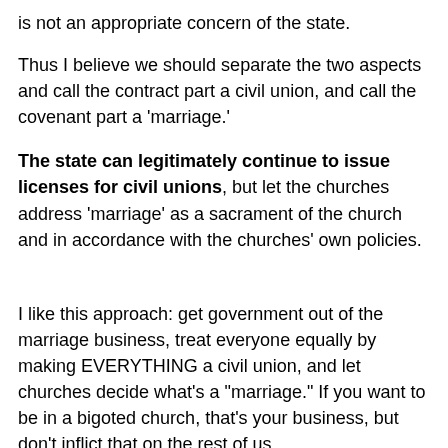is not an appropriate concern of the state.
Thus I believe we should separate the two aspects and call the contract part a civil union, and call the covenant part a 'marriage.'
The state can legitimately continue to issue licenses for civil unions, but let the churches address 'marriage' as a sacrament of the church and in accordance with the churches' own policies.
I like this approach: get government out of the marriage business, treat everyone equally by making EVERYTHING a civil union, and let churches decide what's a "marriage." If you want to be in a bigoted church, that's your business, but don't inflict that on the rest of us.
Autry is identified as "an author and consultant." He is NOT identified as the partner (or to use the socially sanctioned